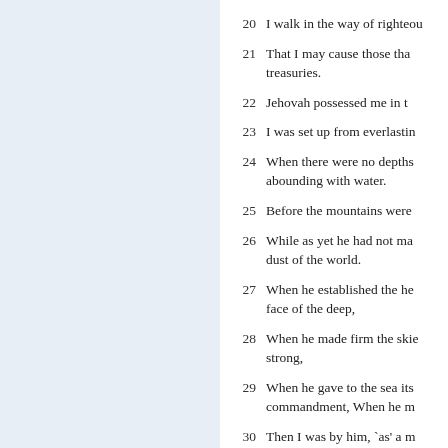20 I walk in the way of righteou
21 That I may cause those tha treasuries.
22 Jehovah possessed me in t
23 I was set up from everlastin
24 When there were no depths abounding with water.
25 Before the mountains were
26 While as yet he had not ma dust of the world.
27 When he established the he face of the deep,
28 When he made firm the skie strong,
29 When he gave to the sea its commandment, When he m
30 Then I was by him, `as' a m always before him.